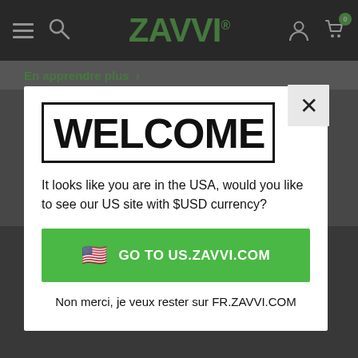ZAVVI
En apprendre plus >
WELCOME
It looks like you are in the USA, would you like to see our US site with $USD currency?
🇺🇸  GO TO US.ZAVVI.COM
Non merci, je veux rester sur FR.ZAVVI.COM
2 FOR £30 4K FILM AUTO APPLIES
3 FOR £24 FUNKO POP! AUTO APPLIES